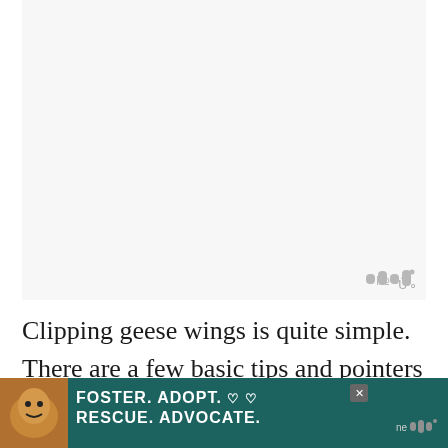[Figure (photo): Large light grey/white image area placeholder for a photo of geese or goose wings, with a watermark logo in the bottom right corner]
Clipping geese wings is quite simple. There are a few basic tips and pointers to keep in mind.
[Figure (other): Advertisement banner: dark teal background with a dog photo on the left, bold white text reading FOSTER. ADOPT. RESCUE. ADVOCATE. with heart symbols, a close button, and a logo on the right]